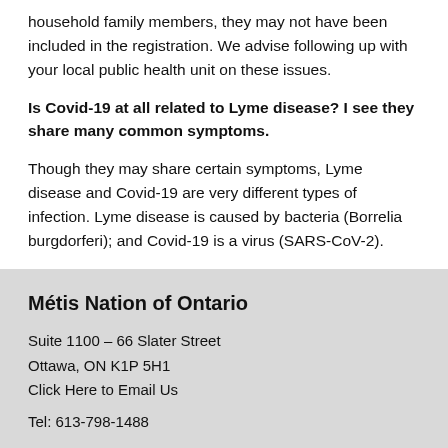household family members, they may not have been included in the registration. We advise following up with your local public health unit on these issues.
Is Covid-19 at all related to Lyme disease? I see they share many common symptoms.
Though they may share certain symptoms, Lyme disease and Covid-19 are very different types of infection. Lyme disease is caused by bacteria (Borrelia burgdorferi); and Covid-19 is a virus (SARS-CoV-2).
Métis Nation of Ontario
Suite 1100 – 66 Slater Street
Ottawa, ON K1P 5H1
Click Here to Email Us
Tel: 613-798-1488